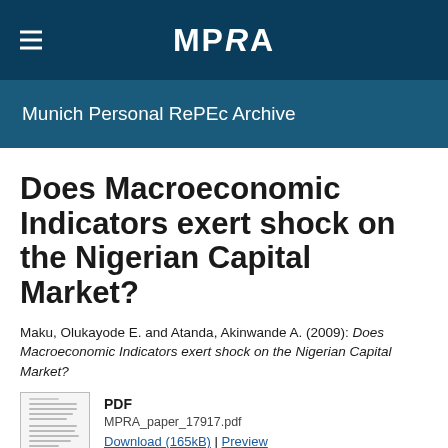MPRA
Munich Personal RePEc Archive
Does Macroeconomic Indicators exert shock on the Nigerian Capital Market?
Maku, Olukayode E. and Atanda, Akinwande A. (2009): Does Macroeconomic Indicators exert shock on the Nigerian Capital Market?
PDF
MPRA_paper_17917.pdf
Download (165kB) | Preview